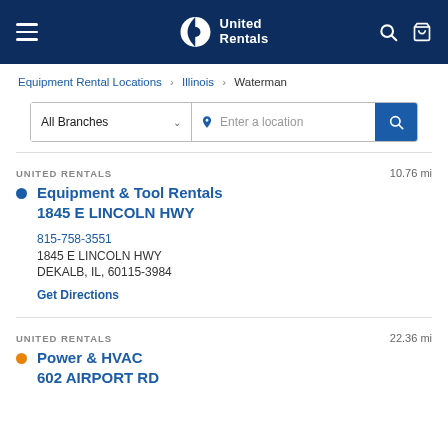[Figure (logo): United Rentals website header with hamburger menu, United Rentals logo, search icon, and cart icon on dark navy background]
Equipment Rental Locations > Illinois > Waterman
[Figure (screenshot): Search bar with 'All Branches' dropdown and 'Enter a location' input field with blue search button]
UNITED RENTALS 10.76 mi
Equipment & Tool Rentals 1845 E LINCOLN HWY
815-758-3551
1845 E LINCOLN HWY
DEKALB, IL, 60115-3984
Get Directions
UNITED RENTALS 22.36 mi
Power & HVAC 602 AIRPORT RD